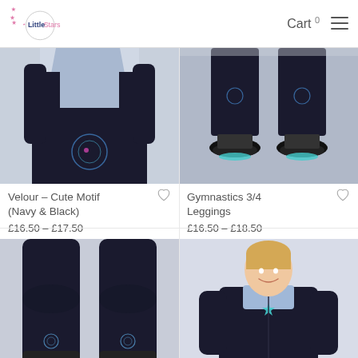Little Stars — Cart 0
[Figure (photo): Gymnastics leotard in navy and black with light blue panel and decorative motif, shown on a young girl from waist down]
Velour – Cute Motif (Navy & Black)
£16.50 – £17.50
[Figure (photo): Close-up of gymnastics 3/4 leggings in black being worn, showing feet with gymnastics shoes]
Gymnastics 3/4 Leggings
£16.50 – £18.50
[Figure (photo): Black gymnastics 3/4 leggings shown flat on two legs, with small decorative star motif near ankle]
[Figure (photo): Young girl smiling wearing a black zip-up hoodie over a light blue/white leotard with a star motif on the chest]